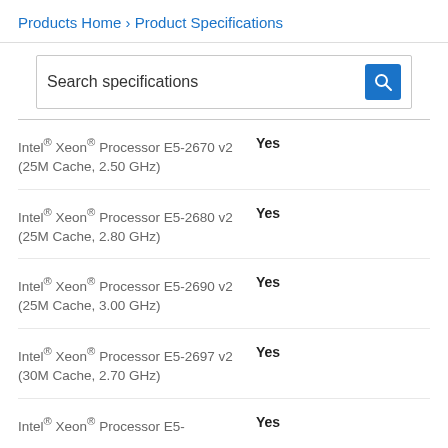Products Home › Product Specifications
Search specifications
Intel® Xeon® Processor E5-2670 v2 (25M Cache, 2.50 GHz) — Yes
Intel® Xeon® Processor E5-2680 v2 (25M Cache, 2.80 GHz) — Yes
Intel® Xeon® Processor E5-2690 v2 (25M Cache, 3.00 GHz) — Yes
Intel® Xeon® Processor E5-2697 v2 (30M Cache, 2.70 GHz) — Yes
Intel® Xeon® Processor E5- — Yes